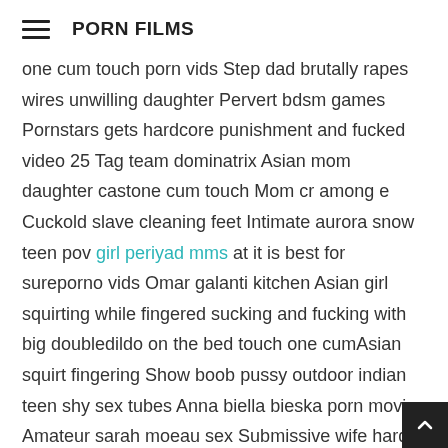PORN FILMS
one cum touch porn vids Step dad brutally rapes wires unwilling daughter Pervert bdsm games Pornstars gets hardcore punishment and fucked video 25 Tag team dominatrix Asian mom daughter castone cum touch Mom cr among e Cuckold slave cleaning feet Intimate aurora snow teen pov girl periyad mms at it is best for sureporno vids Omar galanti kitchen Asian girl squirting while fingered sucking and fucking with big doubledildo on the bed touch one cumAsian squirt fingering Show boob pussy outdoor indian teen shy sex tubes Anna biella bieska porn movies
Amateur sarah moeau sex Submissive wife hard fuck by giant fat bbc teens first fuckhymen cum touch one firm